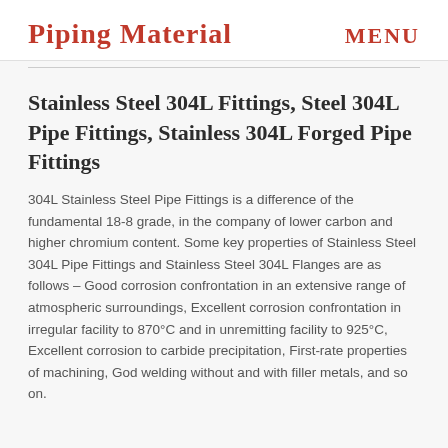Piping Material   MENU
Stainless Steel 304L Fittings, Steel 304L Pipe Fittings, Stainless 304L Forged Pipe Fittings
304L Stainless Steel Pipe Fittings is a difference of the fundamental 18-8 grade, in the company of lower carbon and higher chromium content. Some key properties of Stainless Steel 304L Pipe Fittings and Stainless Steel 304L Flanges are as follows – Good corrosion confrontation in an extensive range of atmospheric surroundings, Excellent corrosion confrontation in irregular facility to 870°C and in unremitting facility to 925°C, Excellent corrosion to carbide precipitation, First-rate properties of machining, God welding without and with filler metals, and so on.